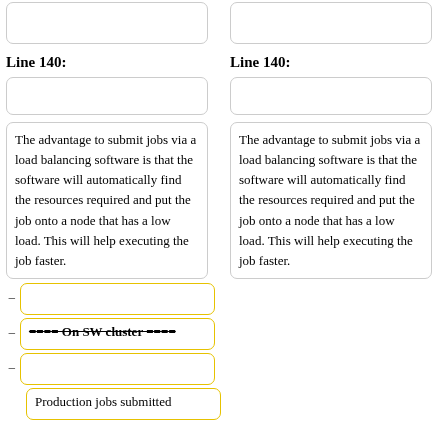(empty box top left)
(empty box top right)
Line 140:
Line 140:
(empty box left)
(empty box right)
The advantage to submit jobs via a load balancing software is that the software will automatically find the resources required and put the job onto a node that has a low load. This will help executing the job faster.
The advantage to submit jobs via a load balancing software is that the software will automatically find the resources required and put the job onto a node that has a low load. This will help executing the job faster.
(empty diff box yellow)
==== On SW cluster ====
(empty diff box yellow)
Production jobs submitted...